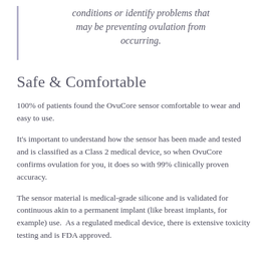conditions or identify problems that may be preventing ovulation from occurring.
Safe & Comfortable
100% of patients found the OvuCore sensor comfortable to wear and easy to use.
It's important to understand how the sensor has been made and tested and is classified as a Class 2 medical device, so when OvuCore confirms ovulation for you, it does so with 99% clinically proven accuracy.
The sensor material is medical-grade silicone and is validated for continuous akin to a permanent implant (like breast implants, for example) use.  As a regulated medical device, there is extensive toxicity testing and is FDA approved.